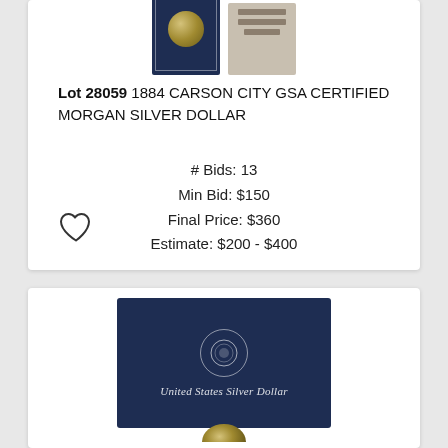[Figure (photo): Partial view of a GSA certified coin slab (blue holder) next to a label/card, cropped at top of card]
Lot 28059 1884 CARSON CITY GSA CERTIFIED MORGAN SILVER DOLLAR
# Bids: 13
Min Bid: $150
Final Price: $360
Estimate: $200 - $400
[Figure (illustration): Heart / favorite icon (outline)]
[Figure (photo): Navy blue GSA/US Mint box for United States Silver Dollar, with circular seal and italic text 'United States Silver Dollar', plus partial coin visible at bottom]